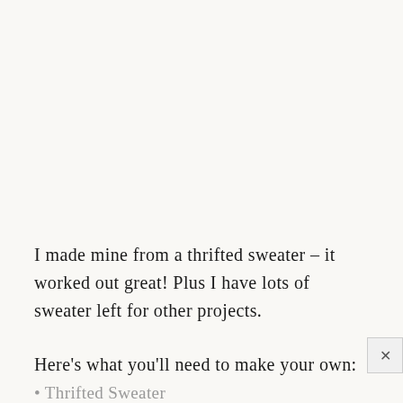I made mine from a thrifted sweater – it worked out great! Plus I have lots of sweater left for other projects.
Here's what you'll need to make your own:
Thrifted Sweater